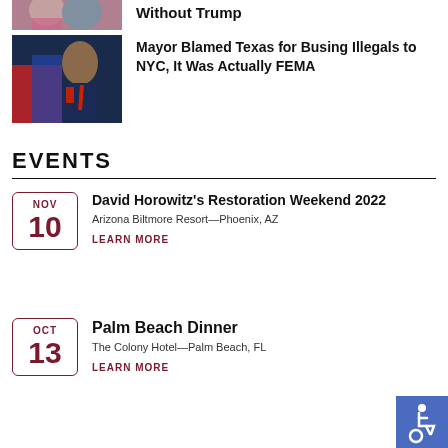[Figure (photo): Partial/cropped photo at top of page showing two people]
Without Trump
[Figure (photo): Photo of a man in a suit (mayor) in front of an American flag]
Mayor Blamed Texas for Busing Illegals to NYC, It Was Actually FEMA
EVENTS
David Horowitz's Restoration Weekend 2022
Arizona Biltmore Resort—Phoenix, AZ
LEARN MORE
Palm Beach Dinner
The Colony Hotel—Palm Beach, FL
LEARN MORE
[Figure (illustration): Accessibility/wheelchair icon in blue square]